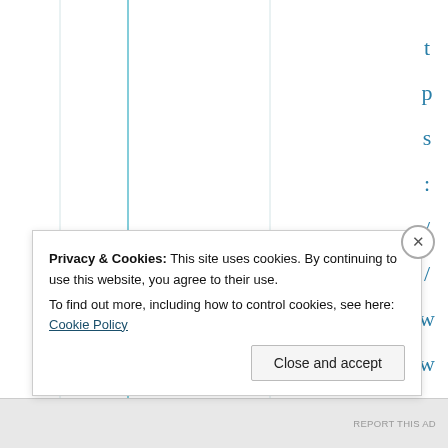[Figure (table-as-image): A table with vertical column grid lines on a white background. The table rows/columns are mostly empty/white in this view. A teal/cyan colored vertical line appears on the left side of the table area.]
p s : / / w w w . t
Privacy & Cookies: This site uses cookies. By continuing to use this website, you agree to their use.
To find out more, including how to control cookies, see here: Cookie Policy
Close and accept